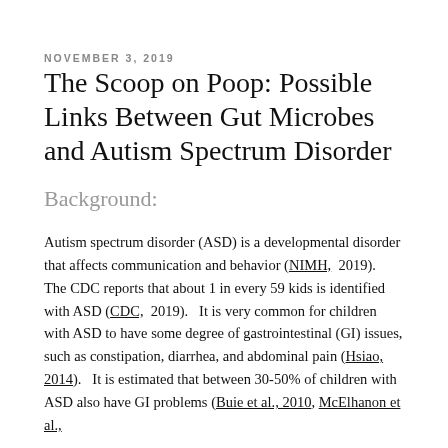NOVEMBER 3, 2019
The Scoop on Poop: Possible Links Between Gut Microbes and Autism Spectrum Disorder
Background:
Autism spectrum disorder (ASD) is a developmental disorder that affects communication and behavior (NIMH, 2019). The CDC reports that about 1 in every 59 kids is identified with ASD (CDC, 2019). It is very common for children with ASD to have some degree of gastrointestinal (GI) issues, such as constipation, diarrhea, and abdominal pain (Hsiao, 2014). It is estimated that between 30-50% of children with ASD also have GI problems (Buie et al., 2010, McElhanon et al.,